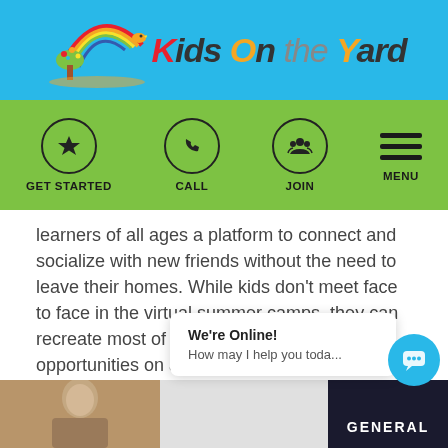[Figure (logo): Kids on the Yard logo with rainbow, colorful tree illustration, and stylized text on a blue banner background]
GET STARTED  CALL  JOIN  MENU
learners of all ages a platform to connect and socialize with new friends without the need to leave their homes. While kids don't meet face to face in the virtual summer camps, they can recreate most of these educational opportunities on a digital platform.
READ MORE »
[Figure (screenshot): Bottom strip showing a person photo on left and 'GENERAL' text on right with dark background]
We're Online!
How may I help you toda...